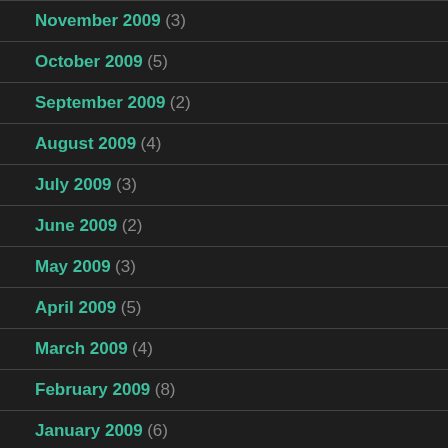November 2009 (3)
October 2009 (5)
September 2009 (2)
August 2009 (4)
July 2009 (3)
June 2009 (2)
May 2009 (3)
April 2009 (5)
March 2009 (4)
February 2009 (8)
January 2009 (6)